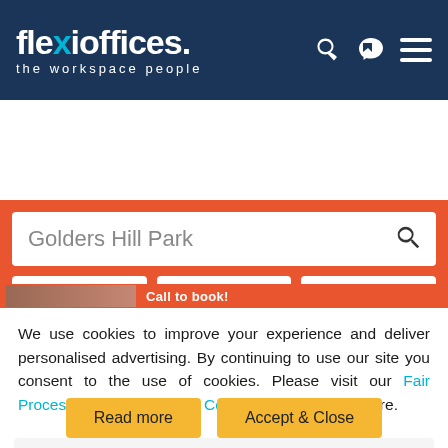[Figure (screenshot): Flexi Offices website header with logo and navigation icons on dark blue and cyan background]
[Figure (screenshot): Search bar showing 'Golders Hill Park' with orange background, radius dropdown, price filter (£ All), and Filters button]
We use cookies to improve your experience and deliver personalised advertising. By continuing to use our site you consent to the use of cookies. Please visit our Fair Processing Notice and our Cookie Policy to learn more.
Read more
Accept & Close
Highgate (0.6 mi)
Archway Station (0.9 mi)